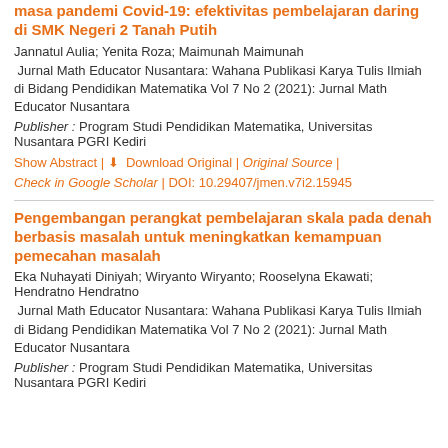masa pandemi Covid-19: efektivitas pembelajaran daring di SMK Negeri 2 Tanah Putih
Jannatul Aulia; Yenita Roza; Maimunah Maimunah
Jurnal Math Educator Nusantara: Wahana Publikasi Karya Tulis Ilmiah di Bidang Pendidikan Matematika Vol 7 No 2 (2021): Jurnal Math Educator Nusantara
Publisher : Program Studi Pendidikan Matematika, Universitas Nusantara PGRI Kediri
Show Abstract | Download Original | Original Source | Check in Google Scholar | DOI: 10.29407/jmen.v7i2.15945
Pengembangan perangkat pembelajaran skala pada denah berbasis masalah untuk meningkatkan kemampuan pemecahan masalah
Eka Nuhayati Diniyah; Wiryanto Wiryanto; Rooselyna Ekawati; Hendratno Hendratno
Jurnal Math Educator Nusantara: Wahana Publikasi Karya Tulis Ilmiah di Bidang Pendidikan Matematika Vol 7 No 2 (2021): Jurnal Math Educator Nusantara
Publisher : Program Studi Pendidikan Matematika, Universitas Nusantara PGRI Kediri